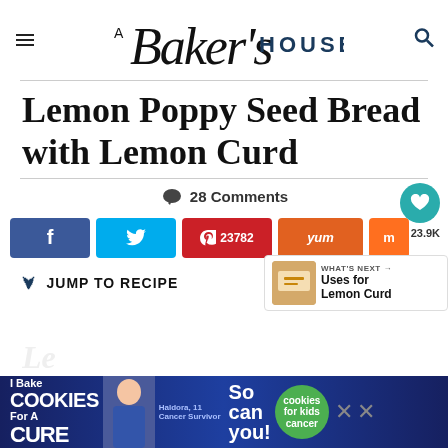A Baker's House
Lemon Poppy Seed Bread with Lemon Curd
28 Comments
[Figure (screenshot): Social share buttons: Facebook, Twitter, Pinterest (23782), Yummly, Mix, with heart save button showing 23.9K saves]
[Figure (infographic): What's Next panel showing Uses for Lemon Curd with a thumbnail image]
JUMP TO RECIPE
[Figure (photo): Advertisement banner: I Bake Cookies For A CURE - Haldora, 11 Cancer Survivor - So can you! cookies for kids cancer]